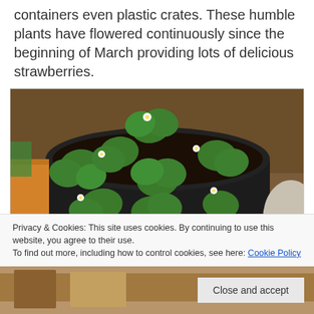containers even plastic crates. These humble plants have flowered continuously since the beginning of March providing lots of delicious strawberries.
[Figure (photo): A round black container/pot filled with strawberry plants showing green leaves and small white flowers, surrounded by soil and other garden containers.]
Privacy & Cookies: This site uses cookies. By continuing to use this website, you agree to their use.
To find out more, including how to control cookies, see here: Cookie Policy
Close and accept
[Figure (photo): Bottom strip of a photo showing garden content.]